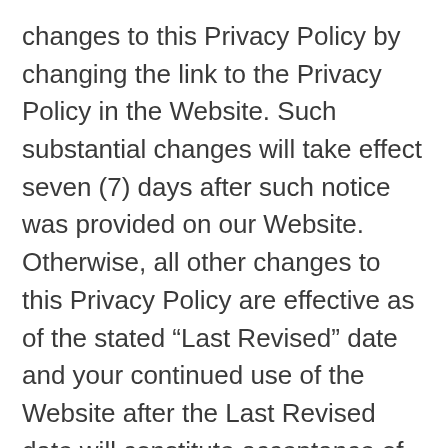changes to this Privacy Policy by changing the link to the Privacy Policy in the Website. Such substantial changes will take effect seven (7) days after such notice was provided on our Website. Otherwise, all other changes to this Privacy Policy are effective as of the stated “Last Revised” date and your continued use of the Website after the Last Revised date will constitute acceptance of, and agreement to be bound by, those changes.